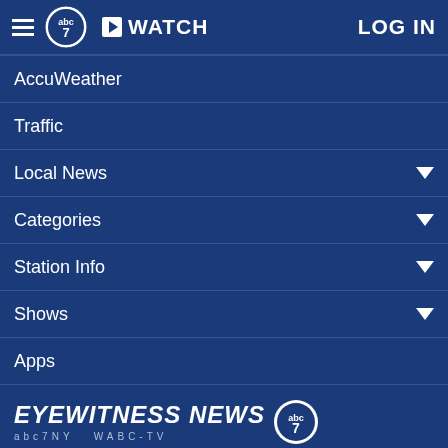WATCH | LOG IN
AccuWeather
Traffic
Local News
Categories
Station Info
Shows
Apps
[Figure (logo): Eyewitness News abc7 WABC-TV logo with ABC7 circle badge]
Follow Us:
Privacy Policy
Do Not Sell My Personal Information